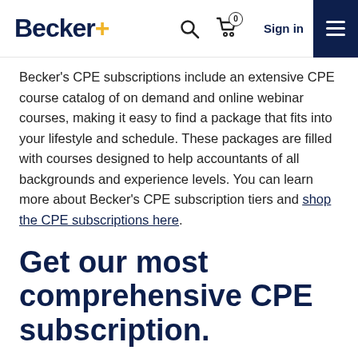Becker+ [logo] | Search | Cart (0) | Sign in | Menu
Becker's CPE subscriptions include an extensive CPE course catalog of on demand and online webinar courses, making it easy to find a package that fits into your lifestyle and schedule. These packages are filled with courses designed to help accountants of all backgrounds and experience levels. You can learn more about Becker's CPE subscription tiers and shop the CPE subscriptions here.
Get our most comprehensive CPE subscription.
Take advantage of everything the Becker course catalog has to offer with access to our entire CPE catalog, including premium content, state-specific